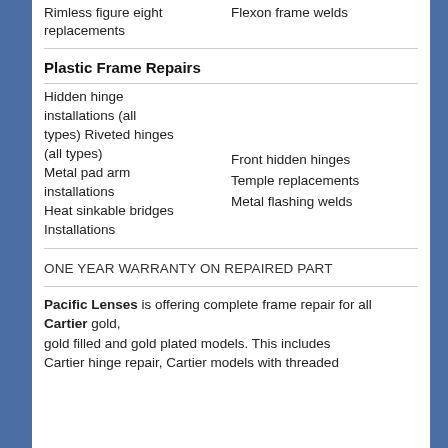Rimless figure eight replacements
Flexon frame welds
Plastic Frame Repairs
Hidden hinge installations (all types) Riveted hinges (all types)
Metal pad arm installations
Heat sinkable bridges Installations
Front hidden hinges
Temple replacements
Metal flashing welds
ONE YEAR WARRANTY ON REPAIRED PART
Pacific Lenses is offering complete frame repair for all Cartier gold, gold filled and gold plated models. This includes Cartier hinge repair, Cartier models with threaded